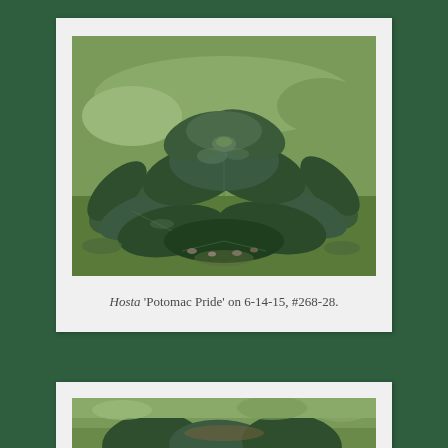[Figure (photo): A hosta plant with large, dark green, glossy, ribbed leaves arranged in a rosette pattern, photographed in a garden setting with grass and ground cover visible in the background.]
Hosta 'Potomac Pride' on 6-14-15, #268-28.
[Figure (photo): A partially visible photo of another hosta plant in a garden, cropped at the bottom of the page.]